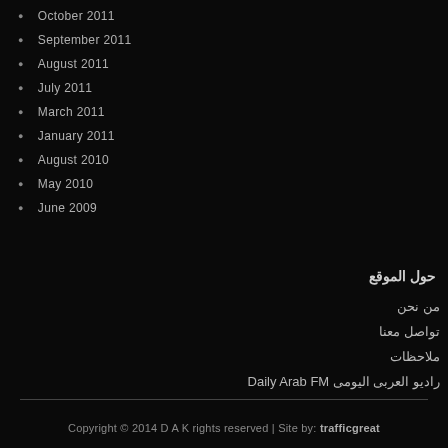October 2011
September 2011
August 2011
July 2011
March 2011
January 2011
August 2010
May 2010
June 2009
حول الموقع
من نحن
تواصل معنا
ملاحظات
راديو العربى اليومى Daily Arab FM
Copyright © 2014 D A K rights reserved | Site by: trafficgreat